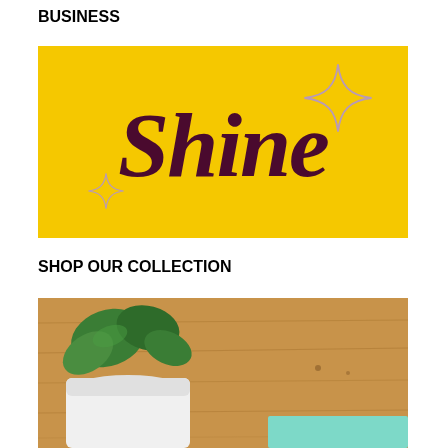BUSINESS
[Figure (illustration): Yellow background with decorative script lettering spelling 'Shine' in dark maroon/purple, with four-pointed star/sparkle decorations in muted purple on lower left and upper right]
SHOP OUR COLLECTION
[Figure (photo): Top-down photo of a wooden table surface with a green plant in a white pot on the left and a teal/mint colored paper or card visible at the bottom right]